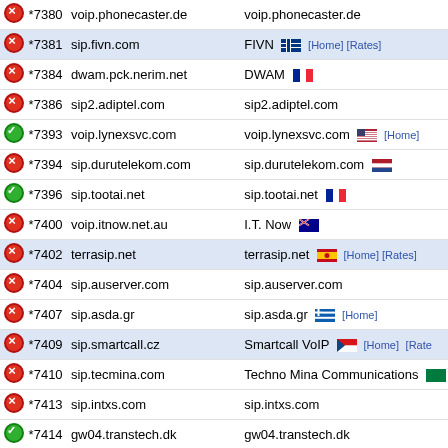| Status | Code | Host | Info |
| --- | --- | --- | --- |
| red | *7380 | voip.phonecaster.de | voip.phonecaster.de |
| red | *7381 | sip.fivn.com | FIVN [flag] [Home] [Rates] |
| red | *7384 | dwam.pck.nerim.net | DWAM [flag] |
| red | *7386 | sip2.adiptel.com | sip2.adiptel.com |
| green | *7393 | voip.lynexsvc.com | voip.lynexsvc.com [flag] [Home] |
| red | *7394 | sip.durutelekom.com | sip.durutelekom.com [flag] |
| green | *7396 | sip.tootai.net | sip.tootai.net [flag] |
| red | *7400 | voip.itnow.net.au | I.T. Now [flag] |
| red | *7402 | terrasip.net | terrasip.net [flag] [Home] [Rates] |
| red | *7404 | sip.auserver.com | sip.auserver.com |
| red | *7407 | sip.asda.gr | sip.asda.gr [flag] [Home] |
| red | *7409 | sip.smartcall.cz | Smartcall VoIP [flag] [Home] [Rates] |
| red | *7410 | sip.tecmina.com | Techno Mina Communications [flag] |
| red | *7413 | sip.intxs.com | sip.intxs.com |
| green | *7414 | gw04.transtech.dk | gw04.transtech.dk |
| green | *7415 | gw03.transtech.dk | gw03.transtech.dk |
| green | *7416 | cartwrjj-4.student.rose-hulman.edu | cartwrjj-4.student.rose-hulman.edu |
| red | *7417 | volley.net | volley.net |
| green | *7418 | proxy.joip.com | proxy.joip.com |
| red | *7420 | sip.dialexia.com | sip.dialexia.com [flag] |
| red | *7426 | sip.uk1.mobe-tel.com | sip.uk1.mobe-tel.com |
| green | *7427 | pbx.voipme.si | pbx.voipme.si [Home] |